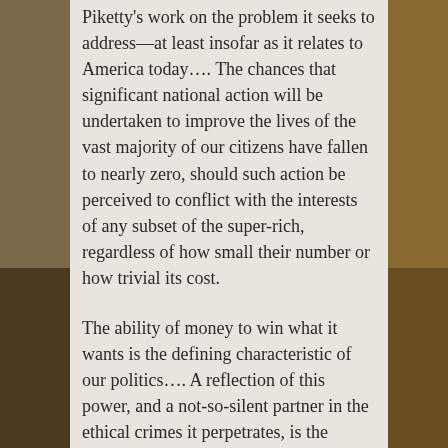Piketty's work on the problem it seeks to addressâ€”at least insofar as it relates to America today…. The chances that significant national action will be undertaken to improve the lives of the vast majority of our citizens have fallen to nearly zero, should such action be perceived to conflict with the interests of any subset of the super-rich, regardless of how small their number or how trivial its cost.
The ability of money to win what it wants is the defining characteristic of our politics…. A reflection of this power, and a not-so-silent partner in the ethical crimes it perpetrates, is the manner in which demonstrable bullshit is able to